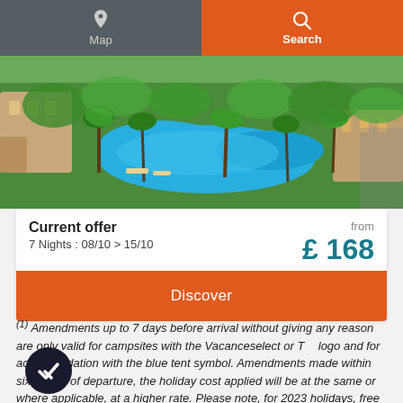Map | Search
[Figure (photo): Aerial view of a hotel resort with a large curved swimming pool surrounded by palm trees and lush greenery]
Current offer
7 Nights : 08/10 > 15/10
from £ 168
Discover
(1) Amendments up to 7 days before arrival without giving any reason are only valid for campsites with the Vacanceselect or Tcs logo and for accommodation with the blue tent symbol. Amendments made within six weeks of departure, the holiday cost applied will be at the same or where applicable, at a higher rate. Please note, for 2023 holidays, free amendments can be made